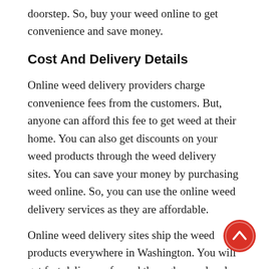doorstep. So, buy your weed online to get convenience and save money.
Cost And Delivery Details
Online weed delivery providers charge convenience fees from the customers. But, anyone can afford this fee to get weed at their home. You can also get discounts on your weed products through the weed delivery sites. You can save your money by purchasing weed online. So, you can use the online weed delivery services as they are affordable.
Online weed delivery sites ship the weed products everywhere in Washington. You will get fast delivery of weed through your local dispensaries. Make sure to